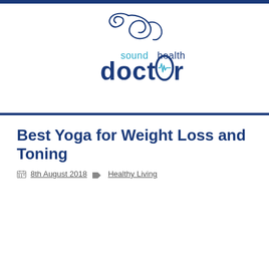[Figure (logo): Sound Health Doctor logo with stylized text and medical heartbeat symbol inside the letter 'o']
Best Yoga for Weight Loss and Toning
8th August 2018   Healthy Living